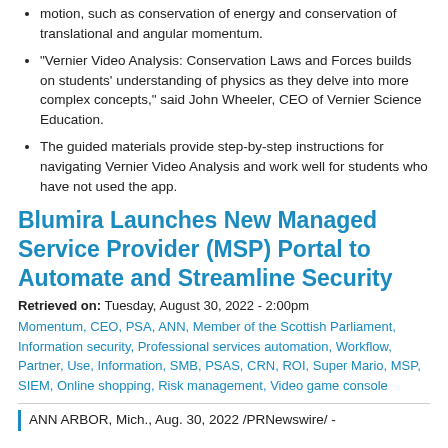motion, such as conservation of energy and conservation of translational and angular momentum.
"Vernier Video Analysis: Conservation Laws and Forces builds on students' understanding of physics as they delve into more complex concepts," said John Wheeler, CEO of Vernier Science Education.
The guided materials provide step-by-step instructions for navigating Vernier Video Analysis and work well for students who have not used the app.
Blumira Launches New Managed Service Provider (MSP) Portal to Automate and Streamline Security
Retrieved on: Tuesday, August 30, 2022 - 2:00pm
Momentum, CEO, PSA, ANN, Member of the Scottish Parliament, Information security, Professional services automation, Workflow, Partner, Use, Information, SMB, PSAS, CRN, ROI, Super Mario, MSP, SIEM, Online shopping, Risk management, Video game console
ANN ARBOR, Mich., Aug. 30, 2022 /PRNewswire/ -